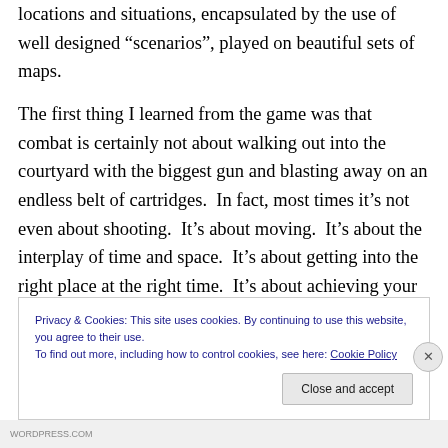locations and situations, encapsulated by the use of well designed “scenarios”, played on beautiful sets of maps.

The first thing I learned from the game was that combat is certainly not about walking out into the courtyard with the biggest gun and blasting away on an endless belt of cartridges.  In fact, most times it’s not even about shooting.  It’s about moving.  It’s about the interplay of time and space.  It’s about getting into the right place at the right time.  It’s about achieving your objectives with limited time and resources.  It’s about looking your people,
Privacy & Cookies: This site uses cookies. By continuing to use this website, you agree to their use.
To find out more, including how to control cookies, see here: Cookie Policy